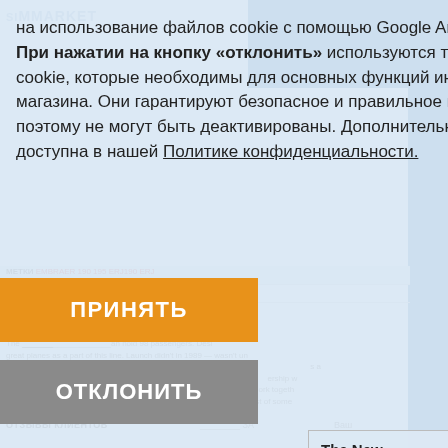[Figure (screenshot): A website page for SIMMARKET partially visible in background, with a cookie consent dialog overlay in Russian text, and a mobile app promo popup. The cookie dialog contains Russian text about cookie usage policy with Accept (ПРИНЯТЬ) and Decline (ОТКЛОНИТЬ) buttons.]
на использование файлов cookie с помощью Google Analytics.
При нажатии на кнопку «отклонить» используются только файлы cookie, которые необходимы для основных функций интернет-магазина. Они гарантируют безопасное и правильное использование и поэтому не могут быть деактивированы. Дополнительная информация доступна в нашей Политике конфиденциальности.
ПРИНЯТЬ
ОТКЛОНИТЬ